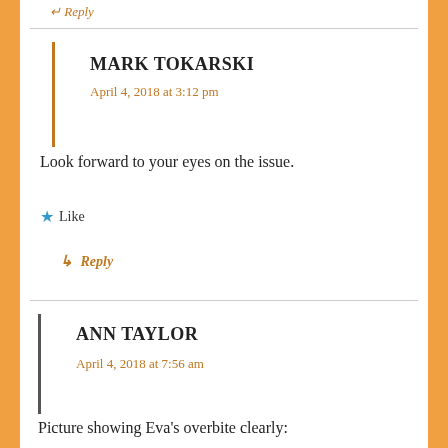↵ Reply
MARK TOKARSKI
April 4, 2018 at 3:12 pm
Look forward to your eyes on the issue.
★ Like
↳ Reply
ANN TAYLOR
April 4, 2018 at 7:56 am
Picture showing Eva's overbite clearly:
http://media.gettyimages.com/photos/maria-eva-duerte-